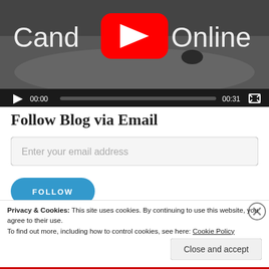[Figure (screenshot): Video player thumbnail showing 'CandleOnline' text with YouTube play button overlay, video controls bar at bottom showing 00:00 / 00:31 with fullscreen button]
Follow Blog via Email
[Figure (screenshot): Email input field with placeholder 'Enter your email address']
[Figure (screenshot): FOLLOW button in blue with rounded corners]
Privacy & Cookies: This site uses cookies. By continuing to use this website, you agree to their use.
To find out more, including how to control cookies, see here: Cookie Policy
Close and accept